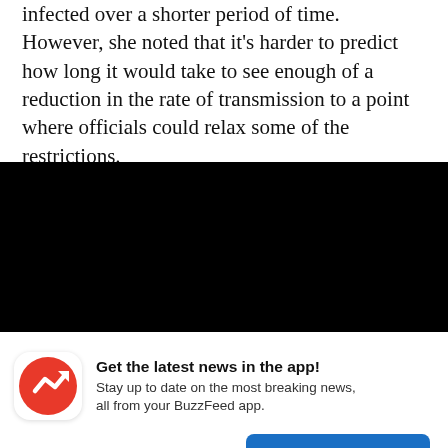infected over a shorter period of time. However, she noted that it's harder to predict how long it would take to see enough of a reduction in the rate of transmission to a point where officials could relax some of the restrictions.
[Figure (other): Black rectangular banner/image placeholder]
Get the latest news in the app! Stay up to date on the most breaking news, all from your BuzzFeed app.
Maybe later | Get the app